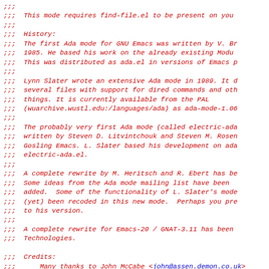;;;
;;; This mode requires find-file.el to be present on you
;;;
;;; History:
;;; The first Ada mode for GNU Emacs was written by V. Br
;;; 1985. He based his work on the already existing Modu
;;; This was distributed as ada.el in versions of Emacs p
;;;
;;; Lynn Slater wrote an extensive Ada mode in 1989. It d
;;; several files with support for dired commands and oth
;;; things. It is currently available from the PAL
;;; (wuarchive.wustl.edu:/languages/ada) as ada-mode-1.06
;;;
;;; The probably very first Ada mode (called electric-ada
;;; written by Steven D. Litvintchouk and Steven M. Rosen
;;; Gosling Emacs. L. Slater based his development on ada
;;; electric-ada.el.
;;;
;;; A complete rewrite by M. Heritsch and R. Ebert has be
;;; Some ideas from the Ada mode mailing list have been
;;; added.  Some of the functionality of L. Slater's mode
;;; (yet) been recoded in this new mode.  Perhaps you pre
;;; to his version.
;;;
;;; A complete rewrite for Emacs-20 / GNAT-3.11 has been
;;; Technologies.
;;;
;;; Credits:
;;;     Many thanks to John McCabe <john@assen.demon.co.uk>
;;;         many patches included in this package.